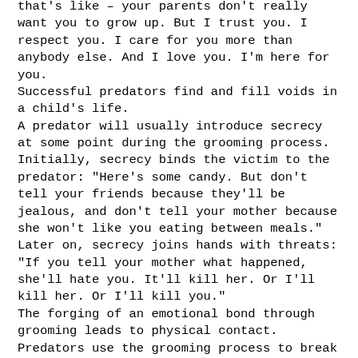that's like – your parents don't really want you to grow up. But I trust you. I respect you. I care for you more than anybody else. And I love you. I'm here for you. Successful predators find and fill voids in a child's life. A predator will usually introduce secrecy at some point during the grooming process. Initially, secrecy binds the victim to the predator: "Here's some candy. But don't tell your friends because they'll be jealous, and don't tell your mother because she won't like you eating between meals." Later on, secrecy joins hands with threats: "If you tell your mother what happened, she'll hate you. It'll kill her. Or I'll kill her. Or I'll kill you." The forging of an emotional bond through grooming leads to physical contact. Predators use the grooming process to break down a child's defenses and increase the child's acceptance of touch. The first physical contact between predator and victim is often nonsexual touching designed to identify limits: an "accidental" touch, an arm around the shoulder, a brushing of hair. Nonsexual touching desensitizes the child. It breaks down